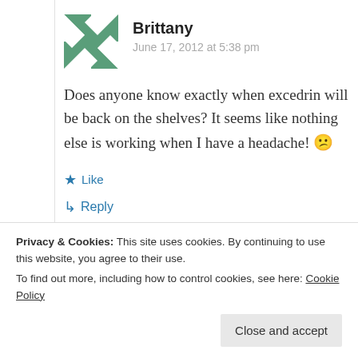Brittany
June 17, 2012 at 5:38 pm
Does anyone know exactly when excedrin will be back on the shelves? It seems like nothing else is working when I have a headache! 😕
★ Like
↳ Reply
Privacy & Cookies: This site uses cookies. By continuing to use this website, you agree to their use.
To find out more, including how to control cookies, see here: Cookie Policy
Close and accept